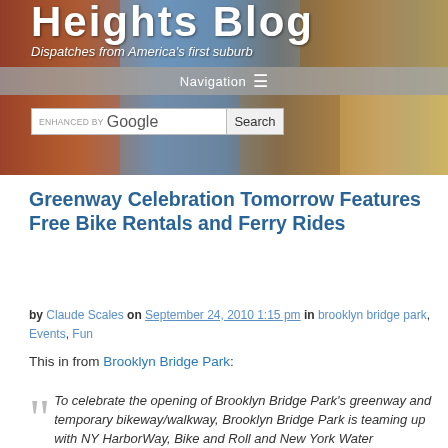Heights Blog — Dispatches from America's first suburb
Greenway Celebration Tomorrow Features Free Bike Rentals and Ferry Rides
by Claude Scales on September 24, 2010 1:15 pm in brooklyn bridge park, Events, Fun
This in from Brooklyn Bridge Park:
To celebrate the opening of Brooklyn Bridge Park's greenway and temporary bikeway/walkway, Brooklyn Bridge Park is teaming up with NY HarborWay, Bike and Roll and New York Water